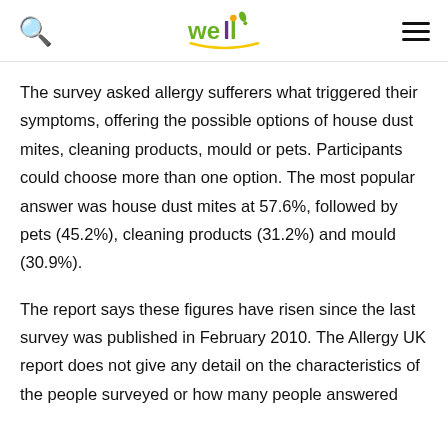weil logo, search icon, menu icon
The survey asked allergy sufferers what triggered their symptoms, offering the possible options of house dust mites, cleaning products, mould or pets. Participants could choose more than one option. The most popular answer was house dust mites at 57.6%, followed by pets (45.2%), cleaning products (31.2%) and mould (30.9%).
The report says these figures have risen since the last survey was published in February 2010. The Allergy UK report does not give any detail on the characteristics of the people surveyed or how many people answered